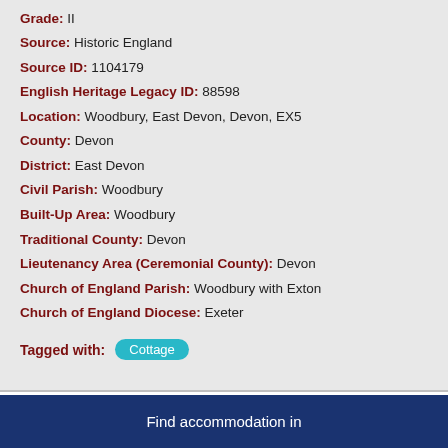Listing Date: 10 January 1983
Grade: II
Source: Historic England
Source ID: 1104179
English Heritage Legacy ID: 88598
Location: Woodbury, East Devon, Devon, EX5
County: Devon
District: East Devon
Civil Parish: Woodbury
Built-Up Area: Woodbury
Traditional County: Devon
Lieutenancy Area (Ceremonial County): Devon
Church of England Parish: Woodbury with Exton
Church of England Diocese: Exeter
Tagged with: Cottage
Find accommodation in